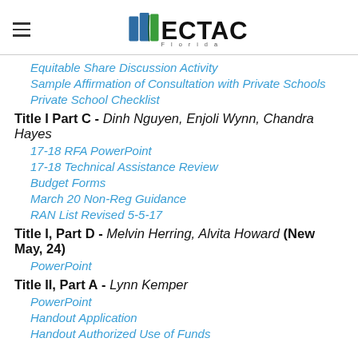ECTAC Florida
Equitable Share Discussion Activity
Sample Affirmation of Consultation with Private Schools
Private School Checklist
Title I Part C - Dinh Nguyen, Enjoli Wynn, Chandra Hayes
17-18 RFA PowerPoint
17-18 Technical Assistance Review
Budget Forms
March 20 Non-Reg Guidance
RAN List Revised 5-5-17
Title I, Part D - Melvin Herring, Alvita Howard (New May, 24)
PowerPoint
Title II, Part A - Lynn Kemper
PowerPoint
Handout Application
Handout Authorized Use of Funds